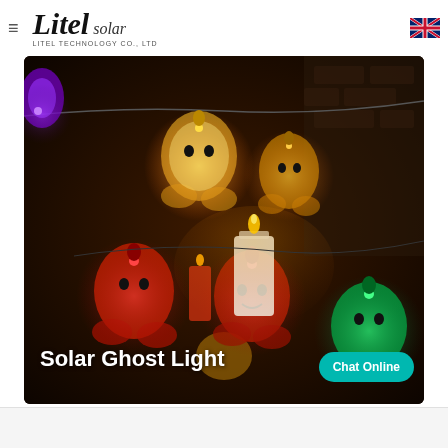Litel Solar — LITEL TECHNOLOGY CO., LTD
[Figure (photo): Solar ghost string lights photo showing colorful ghost-shaped LED lights (red, yellow/orange, green) hanging in a dark indoor setting with candles, with 'Solar Ghost Light' text overlay and a teal 'Chat Online' button overlay]